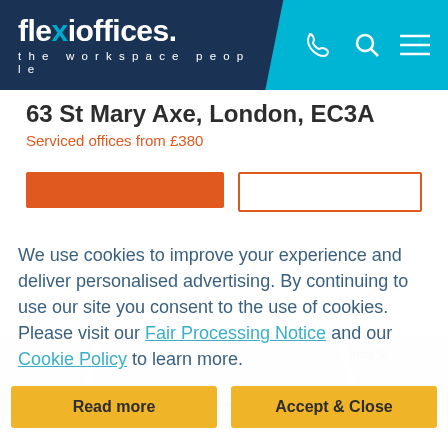flexioffices. the workspace people
63 St Mary Axe, London, EC3A
Serviced offices from £380
We use cookies to improve your experience and deliver personalised advertising. By continuing to use our site you consent to the use of cookies. Please visit our Fair Processing Notice and our Cookie Policy to learn more.
[Figure (screenshot): Google Map showing 63 St Mary Axe area with India St label and Google branding, keyboard shortcuts, and map data copyright 2022 Google.]